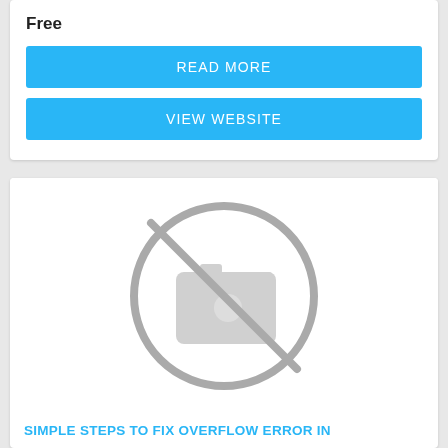Free
READ MORE
VIEW WEBSITE
[Figure (illustration): No-image placeholder icon: a camera inside a circle with a diagonal line through it, in gray]
SIMPLE STEPS TO FIX OVERFLOW ERROR IN